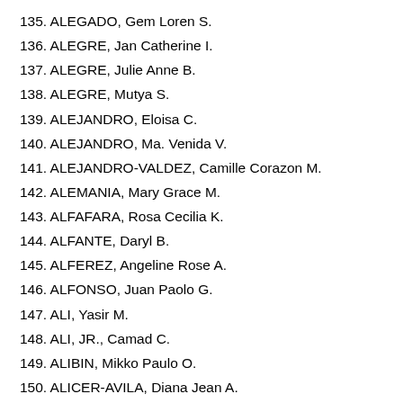135. ALEGADO, Gem Loren S.
136. ALEGRE, Jan Catherine I.
137. ALEGRE, Julie Anne B.
138. ALEGRE, Mutya S.
139. ALEJANDRO, Eloisa C.
140. ALEJANDRO, Ma. Venida V.
141. ALEJANDRO-VALDEZ, Camille Corazon M.
142. ALEMANIA, Mary Grace M.
143. ALFAFARA, Rosa Cecilia K.
144. ALFANTE, Daryl B.
145. ALFEREZ, Angeline Rose A.
146. ALFONSO, Juan Paolo G.
147. ALI, Yasir M.
148. ALI, JR., Camad C.
149. ALIBIN, Mikko Paulo O.
150. ALICER-AVILA, Diana Jean A.